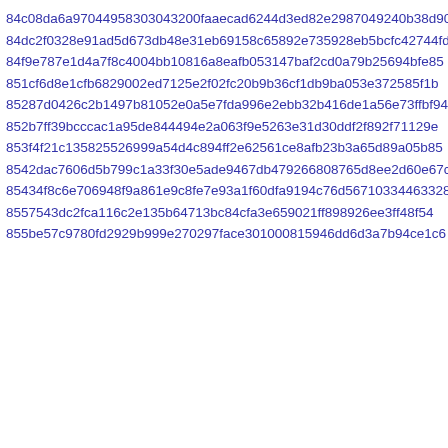84c08da6a97044958303043200faaecad6244d3ed82e2987049240b38d904e
84dc2f0328e91ad5d673db48e31eb69158c65892e735928eb5bcfc42744fd
84f9e787e1d4a7f8c4004bb10816a8eafb053147baf2cd0a79b25694bfe85
851cf6d8e1cfb6829002ed7125e2f02fc20b9b36cf1db9ba053e372585f1b
85287d0426c2b1497b81052e0a5e7fda996e2ebb32b416de1a56e73ffbf94
852b7ff39bcccac1a95de844494e2a063f9e5263e31d30ddf2f892f71129e
853f4f21c135825526999a54d4c894ff2e62561ce8afb23b3a65d89a05b85
8542dac7606d5b799c1a33f30e5ade9467db479266808765d8ee2d60e67cf
85434f8c6e706948f9a861e9c8fe7e93a1f60dfa9194c76d56710334463328
8557543dc2fca116c2e135b64713bc84cfa3e659021ff898926ee3ff48f54
855be57c9780fd2929b999e270297face301000815946dd6d3a7b94ce1c6